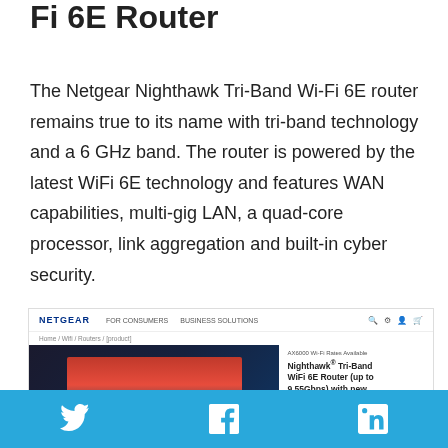Fi 6E Router
The Netgear Nighthawk Tri-Band Wi-Fi 6E router remains true to its name with tri-band technology and a 6 GHz band. The router is powered by the latest WiFi 6E technology and features WAN capabilities, multi-gig LAN, a quad-core processor, link aggregation and built-in cyber security.
[Figure (screenshot): Screenshot of the NETGEAR website showing the Nighthawk Tri-Band WiFi 6E Router product page with navigation bar, breadcrumb, product image of a router with a TV showing streaming content, and product title text.]
Social sharing bar with Twitter, Facebook, and LinkedIn icons on a blue background